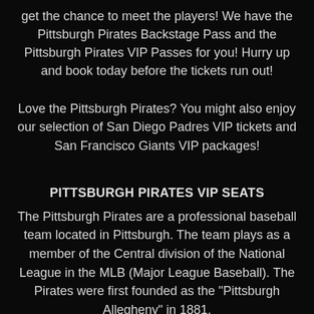get the chance to meet the players! We have the Pittsburgh Pirates Backstage Pass and the Pittsburgh Pirates VIP Passes for you! Hurry up and book today before the tickets run out!
Love the Pittsburgh Pirates? You might also enjoy our selection of San Diego Padres VIP tickets and San Francisco Giants VIP packages!
PITTSBURGH PIRATES VIP SEATS
The Pittsburgh Pirates are a professional baseball team located in Pittsburgh. The team plays as a member of the Central division of the National League in the MLB (Major League Baseball). The Pirates were first founded as the "Pittsburgh Allegheny" in 1881.